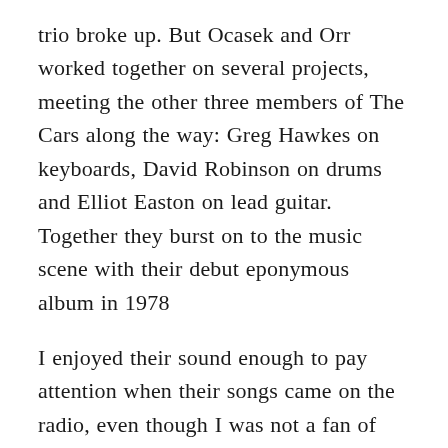trio broke up. But Ocasek and Orr worked together on several projects, meeting the other three members of The Cars along the way: Greg Hawkes on keyboards, David Robinson on drums and Elliot Easton on lead guitar. Together they burst on to the music scene with their debut eponymous album in 1978
I enjoyed their sound enough to pay attention when their songs came on the radio, even though I was not a fan of new wave or synth-rock, as they became known for. The one song in particular that I could not get enough of was “Good Times Roll”. It had such a seductive opening guitar riff aided by a fabulous drum beat.and a funky synthesiser line. It remained my favorite song of the group’s until today’s song came out